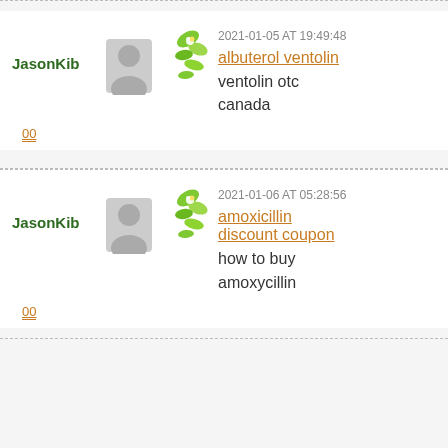JasonKib
2021-01-05 AT 19:49:48
albuterol ventolin
ventolin otc canada
00
JasonKib
2021-01-06 AT 05:28:56
amoxicillin discount coupon
how to buy amoxycillin
00